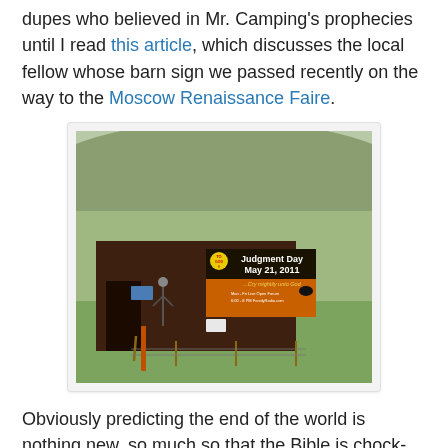dupes who believed in Mr. Camping's prophecies until I read this article, which discusses the local fellow whose barn sign we passed recently on the way to the Moscow Renaissance Faire.
[Figure (photo): Photo of a barn with a large sign reading 'Judgment Day May 21, 2011 ...Cry mightily unto God Mon-Fri Live Open Forum 6:00-8 PM FamilyRadio.com' with a yellow circular sticker in the upper left corner. The barn is set against a hillside with green grass.]
Obviously predicting the end of the world is nothing new, so much so that the Bible is chock-full of warnings, among them Deuteronomy 18:22, Matthew 24:4-5, Matthew 24:36, Acts 20:28-31, 1 John 4:1, etc.